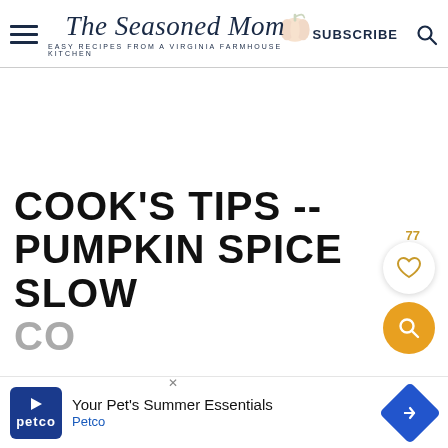The Seasoned Mom — EASY RECIPES FROM A VIRGINIA FARMHOUSE KITCHEN — SUBSCRIBE
COOK'S TIPS -- PUMPKIN SPICE SLOW CO...
[Figure (screenshot): Advertisement banner for Petco — Your Pet's Summer Essentials]